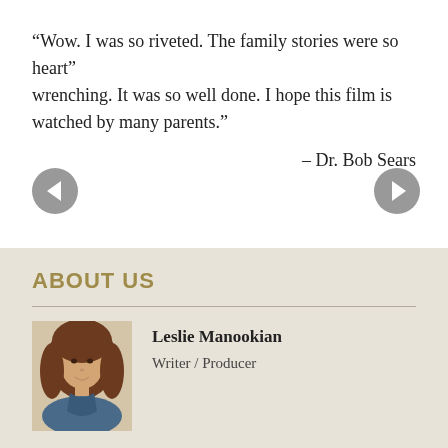“Wow. I was so riveted. The family stories were so heart⁦wrenching. It was so well done. I hope this film is watched by many parents.”
– Dr. Bob Sears
[Figure (other): Navigation buttons: left arrow chevron button and right arrow chevron button for a carousel/slideshow]
ABOUT US
[Figure (photo): Photo of Leslie Manookian, a woman with long brown hair smiling]
Leslie Manookian
Writer / Producer